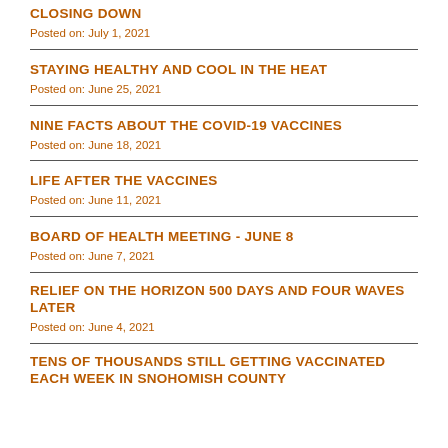CLOSING DOWN
Posted on: July 1, 2021
STAYING HEALTHY AND COOL IN THE HEAT
Posted on: June 25, 2021
NINE FACTS ABOUT THE COVID-19 VACCINES
Posted on: June 18, 2021
LIFE AFTER THE VACCINES
Posted on: June 11, 2021
BOARD OF HEALTH MEETING - JUNE 8
Posted on: June 7, 2021
RELIEF ON THE HORIZON 500 DAYS AND FOUR WAVES LATER
Posted on: June 4, 2021
TENS OF THOUSANDS STILL GETTING VACCINATED EACH WEEK IN SNOHOMISH COUNTY